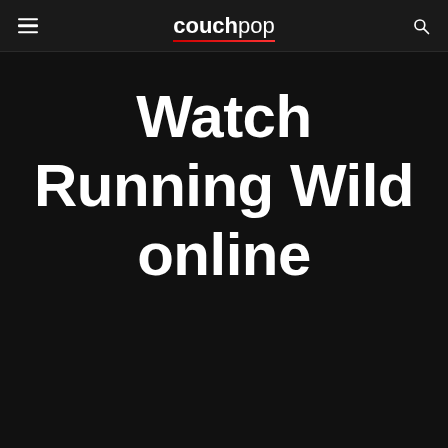couchpop
Watch Running Wild online